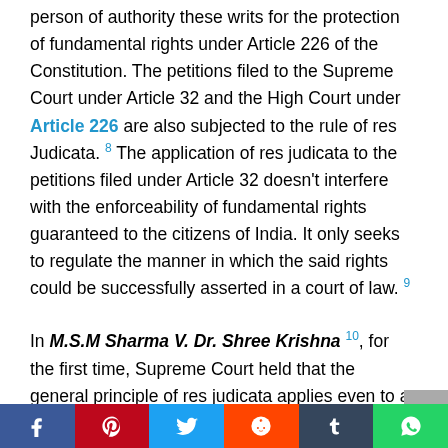person of authority these writs for the protection of fundamental rights under Article 226 of the Constitution. The petitions filed to the Supreme Court under Article 32 and the High Court under Article 226 are also subjected to the rule of res Judicata. 8 The application of res judicata to the petitions filed under Article 32 doesn't interfere with the enforceability of fundamental rights guaranteed to the citizens of India. It only seeks to regulate the manner in which the said rights could be successfully asserted in a court of law. 9
In M.S.M Sharma V. Dr. Shree Krishna 10, for the first time, Supreme Court held that the general principle of res judicata applies even to a writ petition filed under Article 32 of the Constitution of India. Thus, once the petition filed under Article 32 is dismissed by the
[Figure (other): Social sharing bar with Facebook, Pinterest, Twitter, Reddit, Tumblr, and WhatsApp buttons]